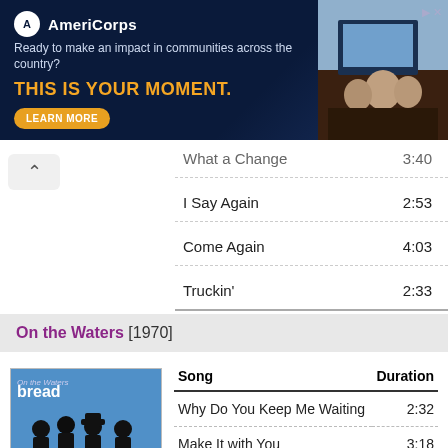[Figure (other): AmeriCorps advertisement banner with dark navy background, logo, tagline 'Ready to make an impact in communities across the country?', headline 'THIS IS YOUR MOMENT.', Learn More button, and photo of people at computers]
What a Change  3:40
I Say Again  2:53
Come Again  4:03
Truckin'  2:33
On the Waters [1970]
[Figure (photo): Album cover for Bread 'On the Waters' showing silhouettes of band members against a blue sky, with close-up photo of band members below]
| Song | Duration |
| --- | --- |
| Why Do You Keep Me Waiting | 2:32 |
| Make It with You | 3:18 |